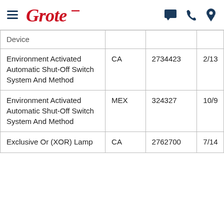Grote [logo] | navigation icons
| Device |  |  |  |
| --- | --- | --- | --- |
| Environment Activated Automatic Shut-Off Switch System And Method | CA | 2734423 | 2/13 |
| Environment Activated Automatic Shut-Off Switch System And Method | MEX | 324327 | 10/9 |
| Exclusive Or (XOR) Lamp | CA | 2762700 | 7/14 |